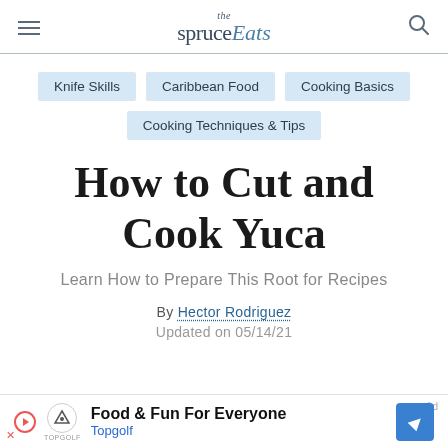the spruce Eats
Knife Skills
Caribbean Food
Cooking Basics
Cooking Techniques & Tips
How to Cut and Cook Yuca
Learn How to Prepare This Root for Recipes
By Hector Rodriguez
Updated on 05/14/21
Food & Fun For Everyone
Topgolf